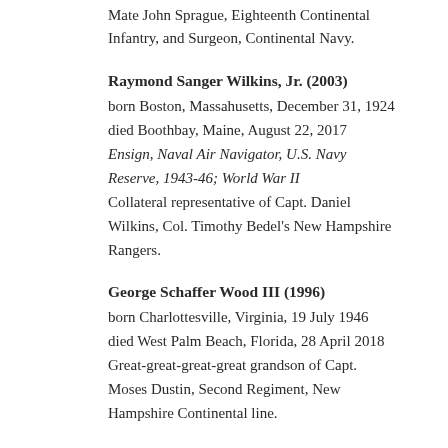Mate John Sprague, Eighteenth Continental Infantry, and Surgeon, Continental Navy.
Raymond Sanger Wilkins, Jr. (2003)
born Boston, Massahusetts, December 31, 1924
died Boothbay, Maine, August 22, 2017
Ensign, Naval Air Navigator, U.S. Navy Reserve, 1943-46; World War II
Collateral representative of Capt. Daniel Wilkins, Col. Timothy Bedel's New Hampshire Rangers.
George Schaffer Wood III (1996)
born Charlottesville, Virginia, 19 July 1946
died West Palm Beach, Florida, 28 April 2018
Great-great-great-great grandson of Capt. Moses Dustin, Second Regiment, New Hampshire Continental line.